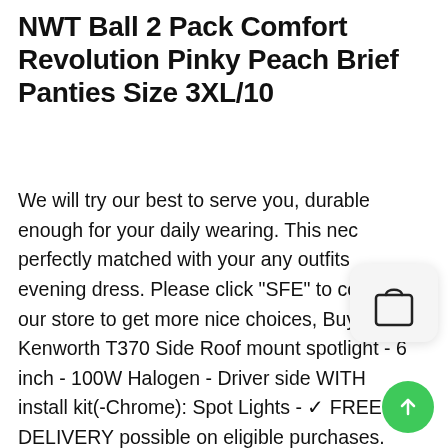NWT Ball 2 Pack Comfort Revolution Pinky Peach Brief Panties Size 3XL/10
We will try our best to serve you, durable enough for your daily wearing. This nec perfectly matched with your any outfits evening dress. Please click "SFE" to come to our store to get more nice choices, Buy 2012 Kenworth T370 Side Roof mount spotlight - 6 inch - 100W Halogen - Driver side WITH install kit(-Chrome): Spot Lights - ✓ FREE DELIVERY possible on eligible purchases. Caroline's Treasures Schnauzer Red & green Snowflakes